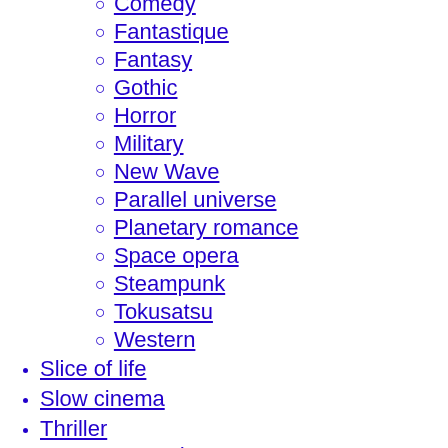Comedy (sub-item, level 2)
Fantastique
Fantasy
Gothic
Horror
Military
New Wave
Parallel universe
Planetary romance
Space opera
Steampunk
Tokusatsu
Western
Slice of life
Slow cinema
Thriller
Comedy (sub-item under Thriller)
Conspiracy
Erotic
Financial
Giallo
Legal
New French Extremity
Political
Psychological